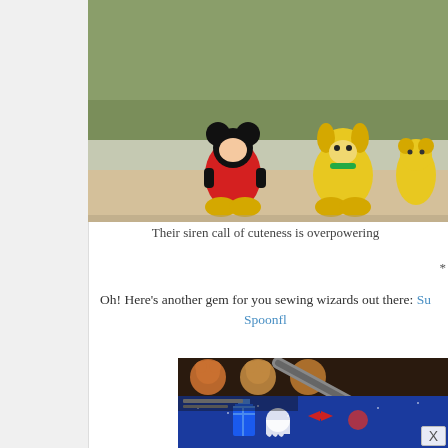[Figure (photo): Photo of Disney character figurines (Mickey Mouse and other characters) standing on a surface with green foliage in the background. The figurines are colorful with large yellow shoes.]
Their siren call of cuteness is overpowering
*
Oh! Here's another gem for you sewing wizards out there: Su... Spoonfl...
[Figure (photo): Photo of fabric or material with Doctor Who themed prints including TARDIS, ghosts, and bow ties on a blue background, with fox/bear motif patches on a darker background above.]